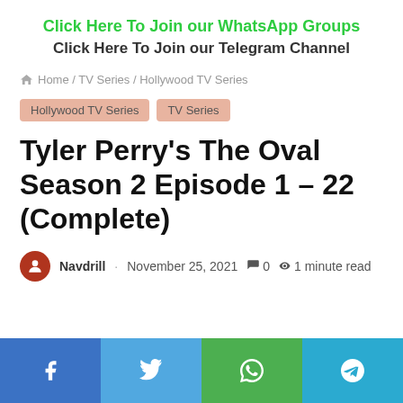Click Here To Join our WhatsApp Groups
Click Here To Join our Telegram Channel
🏠 Home / TV Series / Hollywood TV Series
Hollywood TV Series   TV Series
Tyler Perry's The Oval Season 2 Episode 1 – 22 (Complete)
Navdrill · November 25, 2021  0  1 minute read